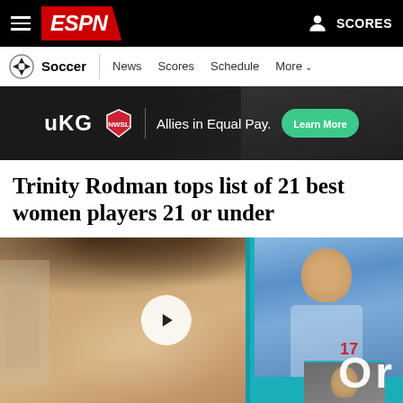ESPN - Soccer | News | Scores | Schedule | More | SCORES
[Figure (screenshot): UKG advertisement banner: 'Allies in Equal Pay. Learn More']
Trinity Rodman tops list of 21 best women players 21 or under
[Figure (photo): Photo of Trinity Rodman smiling, with a play button overlay and a side panel showing a soccer player wearing jersey #17, with 'OR' text visible]